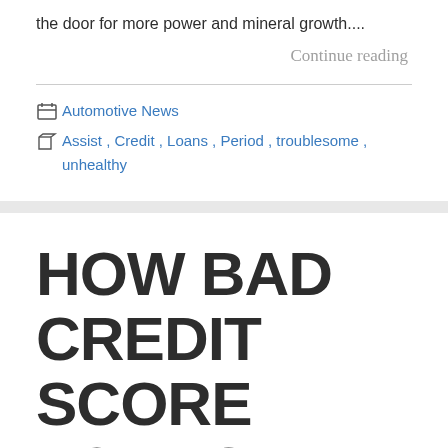the door for more power and mineral growth....
Continue reading
Automotive News
Assist , Credit , Loans , Period , troublesome , unhealthy
HOW BAD CREDIT SCORE LOANS ASSIST YOU IN A TROUBLESOME